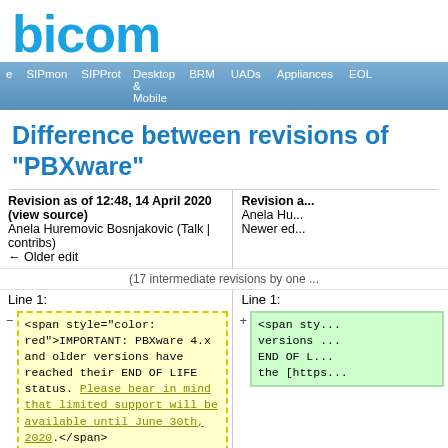[Figure (logo): Bicom logo in blue bold rounded text]
e | SIPmon | SIPProt | Desktop & Mobile | BRM | UADs | Appliances | EOL
Difference between revisions of "PBXware"
| Left revision | Right revision |
| --- | --- |
| Revision as of 12:48, 14 April 2020 (view source)
Anela Huremovic Bosnjakovic (Talk | contribs)
← Older edit | Revision a...
Anela Hu...
Newer ed... |
| (17 intermediate revisions by one ... |  |
| Line 1: | Line 1: |
| - <span style="color: red">IMPORTANT: PBXware 4.x and older versions have reached their END OF LIFE status. Please bear in mind that limited support will be available until June 30th, 2020.</span> | + <span sty... versions ... END OF L... the [https... |
|  |  |
| <!-- Main PBXware table begins--> | <!-- Main ... |
| Line 27: | Line 27: |